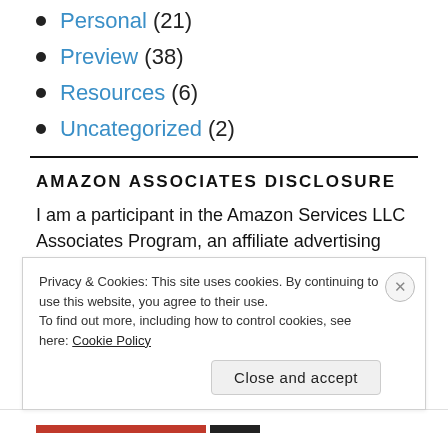Personal (21)
Preview (38)
Resources (6)
Uncategorized (2)
AMAZON ASSOCIATES DISCLOSURE
I am a participant in the Amazon Services LLC Associates Program, an affiliate advertising
Privacy & Cookies: This site uses cookies. By continuing to use this website, you agree to their use.
To find out more, including how to control cookies, see here: Cookie Policy